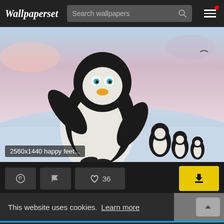Wallpaperset — Search wallpapers
[Figure (screenshot): Animated penguin (Happy Feet) wallpaper screenshot with label '2560x1440 happy feet...']
2560x1440 happy feet...
This website uses cookies.  Learn more
Social icons: Facebook, Twitter, Email, Pinterest, Plus